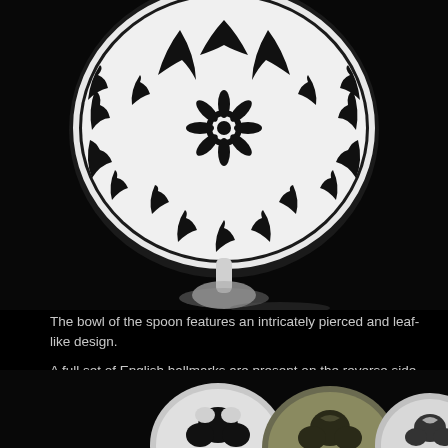[Figure (photo): Close-up photo on black background of a silver spoon bowl viewed from above, showing an intricately pierced and leaf-like filigree design pattern. The spoon stem and base are visible below the bowl, slightly out of focus.]
The bowl of the spoon features an intricately pierced and leaf-like design.
A full set of English hallmarks are present on the reverse side of the handle.
[Figure (photo): Photo on black background showing three circular silver medallions or spoon bowls with pierced decorative patterns, partially visible at the bottom of the page.]